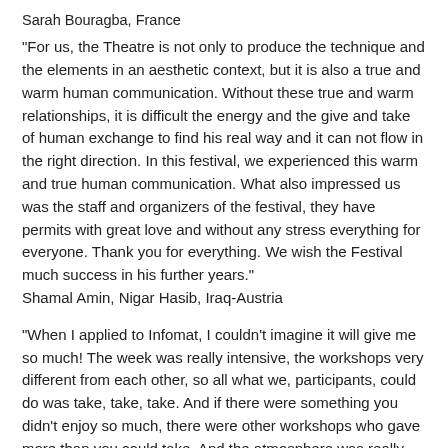Sarah Bouragba, France
"For us, the Theatre is not only to produce the technique and the elements in an aesthetic context, but it is also a true and warm human communication. Without these true and warm relationships, it is difficult the energy and the give and take of human exchange to find his real way and it can not flow in the right direction. In this festival, we experienced this warm and true human communication. What also impressed us was the staff and organizers of the festival, they have permits with great love and without any stress everything for everyone. Thank you for everything. We wish the Festival much success in his further years."
Shamal Amin, Nigar Hasib, Iraq-Austria
"When I applied to Infomat, I couldn't imagine it will give me so much! The week was really intensive, the workshops very different from each other, so all what we, participants, could do was take, take, take. And if there were something you didn't enjoy so much, there were other workshops who gave more than you could take. And the atmosphere was really good! Everybody was friendly and it was very easy to cooperate with other students as well as the teachers. The festival gave me such a fulfillment I hadn't felt for a very long time. It was hard to leave. Even though we were exhausted. It was a nice exaustment. I wish I could not forget anything of what I learned, I don't want to miss something of that huge, nice experience what I just got! The